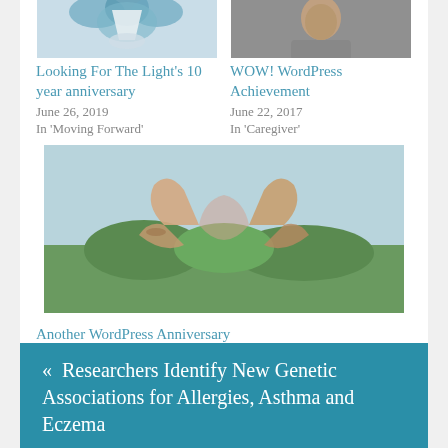[Figure (illustration): Plant/nature illustration thumbnail - top of page, left column]
[Figure (photo): Portrait photo thumbnail - top of page, right column]
Looking For The Light's 10 year anniversary
June 26, 2019
In 'Moving Forward'
WOW! WordPress Achievement
June 22, 2017
In 'Caregiver'
[Figure (photo): Two hands forming a heart shape against a blurred outdoor background]
Another WordPress Anniversary
June 28, 2022
In 'Blogging'
« Researchers Identify New Genetic Associations for Allergies, Asthma and Eczema